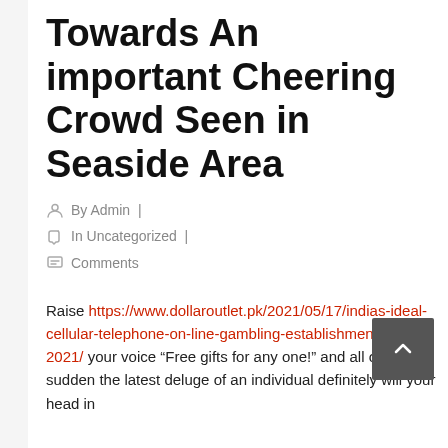Towards An important Cheering Crowd Seen in Seaside Area
By Admin  |
In Uncategorized  |
Comments
Raise https://www.dollaroutlet.pk/2021/05/17/indias-ideal-cellular-telephone-on-line-gambling-establishments-jun-2021/ your voice “Free gifts for any one!” and all of the sudden the latest deluge of an individual definitely will your head in